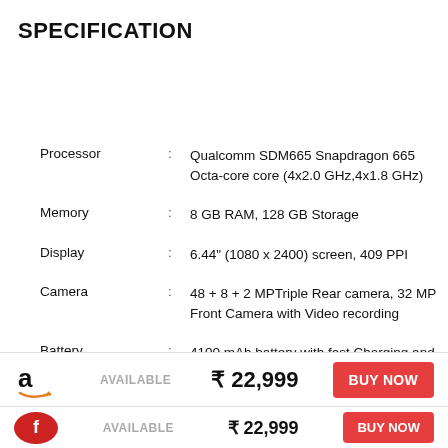SPECIFICATION
|  |  |  |
| --- | --- | --- |
| Processor | : | Qualcomm SDM665 Snapdragon 665 Octa-core core (4x2.0 GHz,4x1.8 GHz) |
| Memory | : | 8 GB RAM, 128 GB Storage |
| Display | : | 6.44" (1080 x 2400) screen, 409 PPI |
| Camera | : | 48 + 8 + 2 MPTriple Rear camera, 32 MP Front Camera with Video recording |
| Battery | : | 4100 mAh battery with fast Charging and USB Type-C port |
| SIM | : | Dual SIM |
| Features | : | LED Flash |
AVAILABLE  ₹ 22,999  BUY NOW
AVAILABLE  ₹ 22,999  BUY NOW